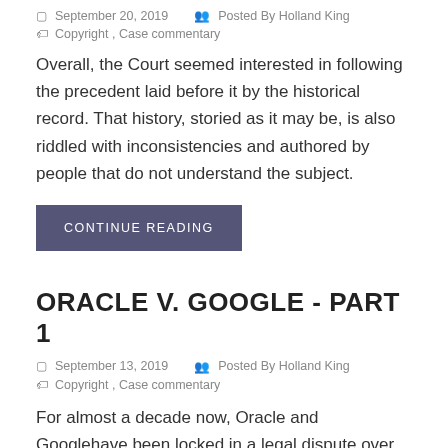September 20, 2019   Posted By Holland King
Copyright , Case commentary
Overall, the Court seemed interested in following the precedent laid before it by the historical record. That history, storied as it may be, is also riddled with inconsistencies and authored by people that do not understand the subject.
CONTINUE READING
ORACLE V. GOOGLE - PART 1
September 13, 2019   Posted By Holland King
Copyright , Case commentary
For almost a decade now, Oracle and Googlehave been locked in a legal dispute over the Java API. To date, there has been a